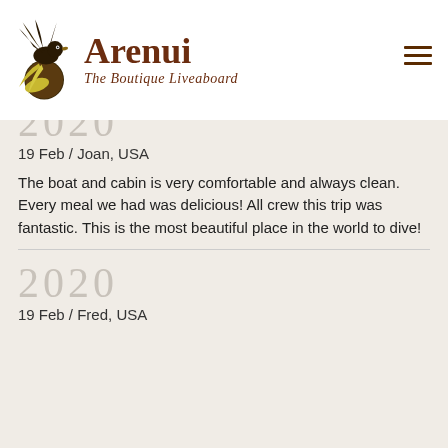[Figure (logo): Arenui Boutique Liveaboard logo with bird of paradise illustration and stylized text]
wonderful memories. I boarded the Arenui as an inexperienced diver and now I'm safer, better and a more relaxed diver.
2020
19 Feb / Joan, USA
The boat and cabin is very comfortable and always clean. Every meal we had was delicious! All crew this trip was fantastic. This is the most beautiful place in the world to dive!
2020
19 Feb / Fred, USA